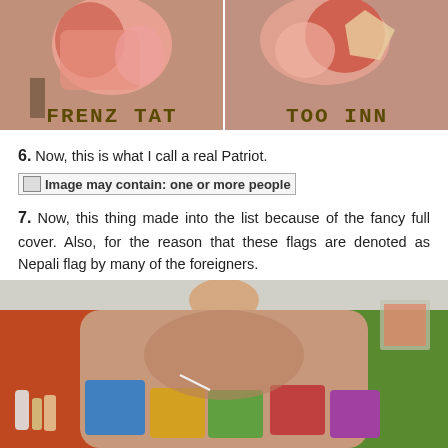[Figure (photo): Two side-by-side photos of a tattoo on an arm at Frenz Tattoo Inn, showing a colorful tattoo with text overlay 'FRENZ TATTOO INN']
6. Now, this is what I call a real Patriot.
[Figure (photo): Image may contain: one or more people (Facebook image placeholder)]
7. Now, this thing made into the list because of the fancy full cover. Also, for the reason that these flags are denoted as Nepali flag by many of the foreigners.
[Figure (photo): Photo of the back of a person's neck and upper back showing a colorful full-cover tattoo in a tattoo shop with orange and green walls]